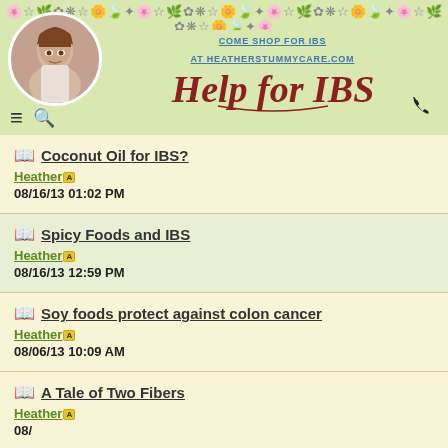Help for IBS - COME SHOP FOR IBS AT HEATHERSTUMMYCARE.COM
Coconut Oil for IBS? | Heather | 08/16/13 01:02 PM
Spicy Foods and IBS | Heather | 08/16/13 12:59 PM
Soy foods protect against colon cancer | Heather | 08/06/13 10:09 AM
A Tale of Two Fibers | Heather | (date partially visible)